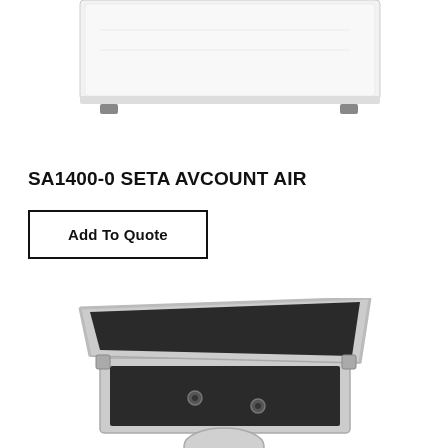[Figure (photo): Top portion of a white rectangular laboratory instrument (SETA AVCOUNT AIR) viewed from above, showing the flat white top surface with feet visible at the bottom edge.]
SA1400-0 SETA AVCOUNT AIR
Add To Quote
[Figure (photo): An open silver/aluminum flight case or carry case with black foam interior, viewed from above at an angle, showing two circular mounting points inside the case and the open lid. A partial circular object is visible at the bottom edge.]